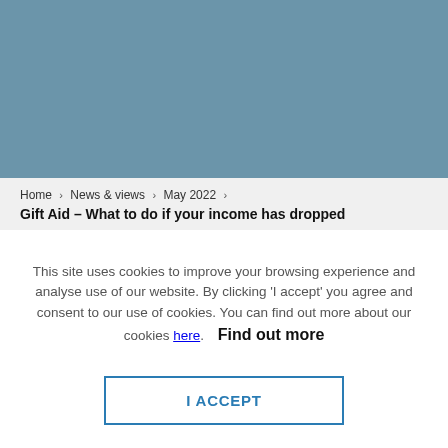[Figure (photo): Muted steel-blue/grey-blue solid color hero banner image]
Home > News & views > May 2022 > Gift Aid – What to do if your income has dropped
This site uses cookies to improve your browsing experience and analyse use of our website. By clicking 'I accept' you agree and consent to our use of cookies. You can find out more about our cookies here. Find out more
I ACCEPT